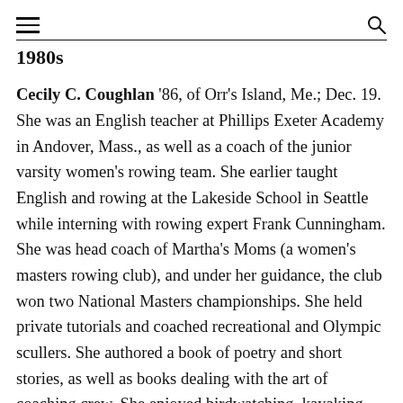[hamburger menu icon] [search icon]
1980s
Cecily C. Coughlan '86, of Orr's Island, Me.; Dec. 19. She was an English teacher at Phillips Exeter Academy in Andover, Mass., as well as a coach of the junior varsity women's rowing team. She earlier taught English and rowing at the Lakeside School in Seattle while interning with rowing expert Frank Cunningham. She was head coach of Martha's Moms (a women's masters rowing club), and under her guidance, the club won two National Masters championships. She held private tutorials and coached recreational and Olympic scullers. She authored a book of poetry and short stories, as well as books dealing with the art of coaching crew. She enjoyed birdwatching, kayaking, listening to music, and reading.